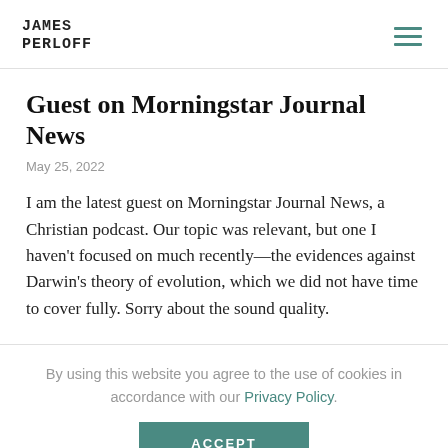JAMES PERLOFF
Guest on Morningstar Journal News
May 25, 2022
I am the latest guest on Morningstar Journal News, a Christian podcast. Our topic was relevant, but one I haven't focused on much recently—the evidences against Darwin's theory of evolution, which we did not have time to cover fully. Sorry about the sound quality.
By using this website you agree to the use of cookies in accordance with our Privacy Policy.
ACCEPT